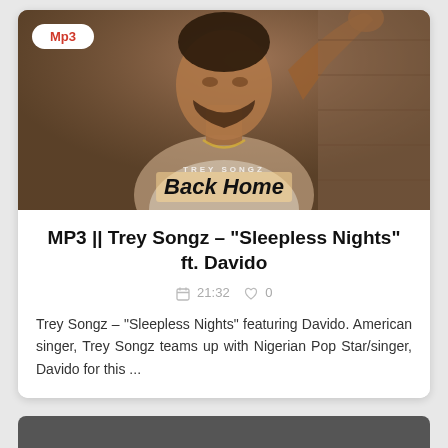[Figure (photo): Photo of Trey Songz with Mp3 badge in top-left corner, album artwork visible at bottom of image]
MP3 || Trey Songz – "Sleepless Nights" ft. Davido
21:32  0
Trey Songz – "Sleepless Nights" featuring Davido. American singer, Trey Songz teams up with Nigerian Pop Star/singer, Davido for this ...